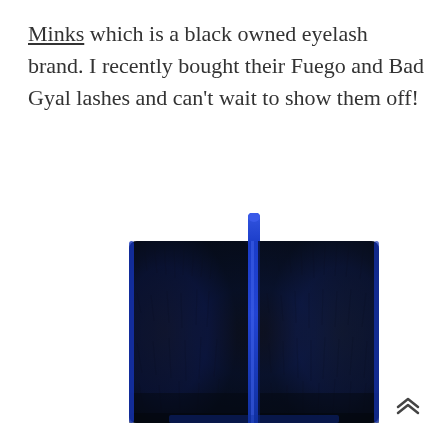Minks which is a black owned eyelash brand. I recently bought their Fuego and Bad Gyal lashes and can't wait to show them off!
[Figure (photo): A dark navy/black faux fur clutch bag with a blue zipper running vertically down the center and a small blue tab at the top.]